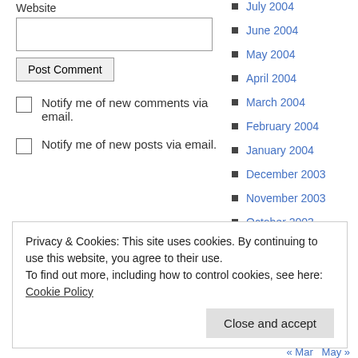Website
[website input field]
Post Comment
Notify me of new comments via email.
Notify me of new posts via email.
July 2004
June 2004
May 2004
April 2004
March 2004
February 2004
January 2004
December 2003
November 2003
October 2003
September 2003
April 2014
Privacy & Cookies: This site uses cookies. By continuing to use this website, you agree to their use.
To find out more, including how to control cookies, see here: Cookie Policy
Close and accept
« Mar   May »